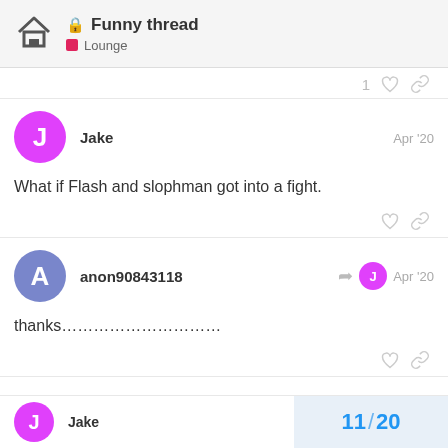🔒 Funny thread — Lounge
1 ♡ 🔗
Jake  Apr '20
What if Flash and slophman got into a fight.
anon90843118  Apr '20
thanks…………………………
Jake  11 / 20